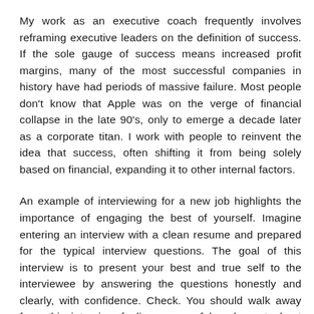My work as an executive coach frequently involves reframing executive leaders on the definition of success. If the sole gauge of success means increased profit margins, many of the most successful companies in history have had periods of massive failure. Most people don't know that Apple was on the verge of financial collapse in the late 90's, only to emerge a decade later as a corporate titan. I work with people to reinvent the idea that success, often shifting it from being solely based on financial, expanding it to other internal factors.
An example of interviewing for a new job highlights the importance of engaging the best of yourself. Imagine entering an interview with a clean resume and prepared for the typical interview questions. The goal of this interview is to present your best and true self to the interviewee by answering the questions honestly and clearly, with confidence. Check. You should walk away from this interview feeling successful and great about yourself! Why? Because